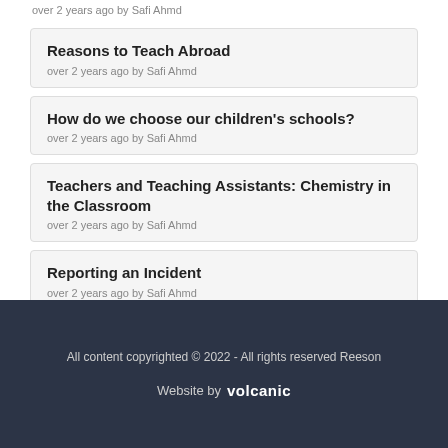over 2 years ago by Safi Ahmd
Reasons to Teach Abroad
over 2 years ago by Safi Ahmd
How do we choose our children's schools?
over 2 years ago by Safi Ahmd
Teachers and Teaching Assistants: Chemistry in the Classroom
over 2 years ago by Safi Ahmd
Reporting an Incident
over 2 years ago by Safi Ahmd
All content copyrighted © 2022 - All rights reserved Reeson
Website by volcanic